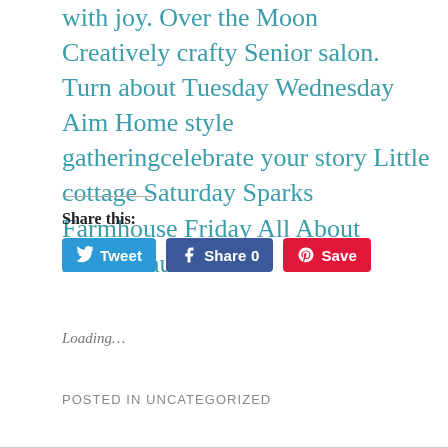with joy. Over the Moon Creatively crafty Senior salon. Turn about Tuesday Wednesday Aim Home style gatheringcelebrate your story Little cottage Saturday Sparks Farmhouse Friday All About Home flaunt it
Share this:
[Figure (other): Social share buttons: Tweet (Twitter/blue), Share 0 (Facebook/dark blue), Save (Pinterest/red)]
Loading...
POSTED IN UNCATEGORIZED